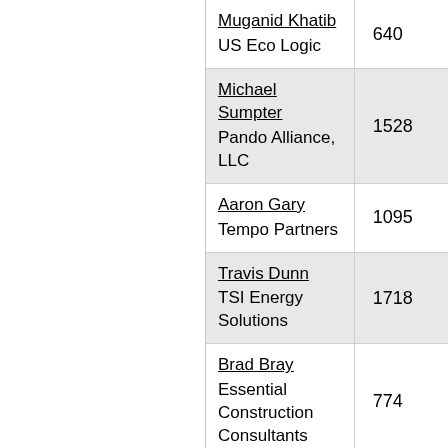| Name / Organization | Number |
| --- | --- |
| Muganid Khatib
US Eco Logic | 640 |
| Michael Sumpter
Pando Alliance, LLC | 1528 |
| Aaron Gary
Tempo Partners | 1095 |
| Travis Dunn
TSI Energy Solutions | 1718 |
| Brad Bray
Essential Construction Consultants | 774 |
| Laurie Colwander
Southern Energy | 2614 |